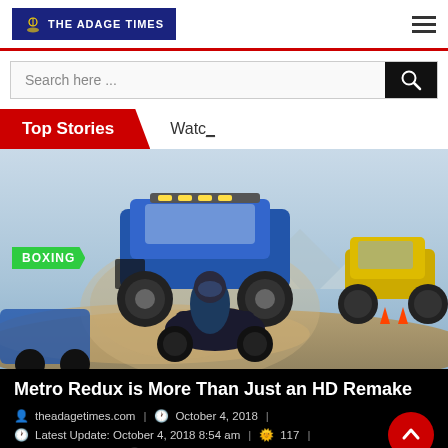THE ADAGE TIMES
Search here ...
Top Stories | Watch
[Figure (photo): Action scene showing monster trucks and a motorcycle racer in a dusty off-road racing environment, with a blue monster truck in the background and a yellow truck jumping on the right. A green BOXING tag is overlaid on the lower left.]
Metro Redux is More Than Just an HD Remake
theadagetimes.com | October 4, 2018 | Latest Update: October 4, 2018 8:54 am | 117 | 2 minutes read | 0